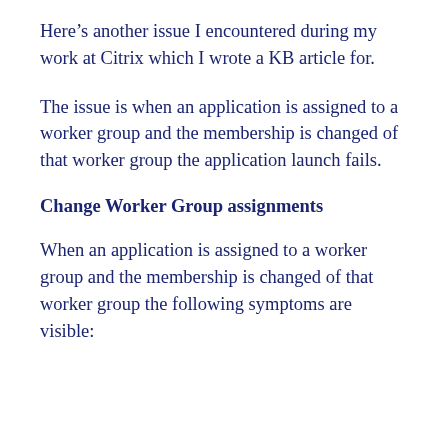Here’s another issue I encountered during my work at Citrix which I wrote a KB article for.
The issue is when an application is assigned to a worker group and the membership is changed of that worker group the application launch fails.
Change Worker Group assignments
When an application is assigned to a worker group and the membership is changed of that worker group the following symptoms are visible: